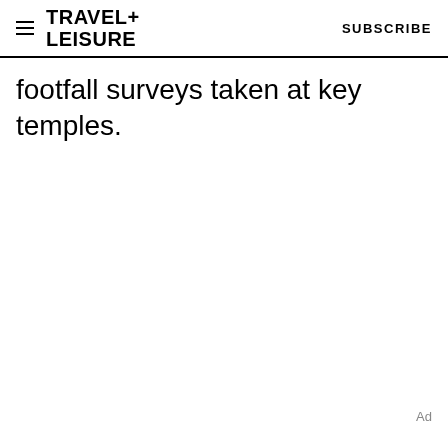TRAVEL+LEISURE   SUBSCRIBE
footfall surveys taken at key temples.
Ad